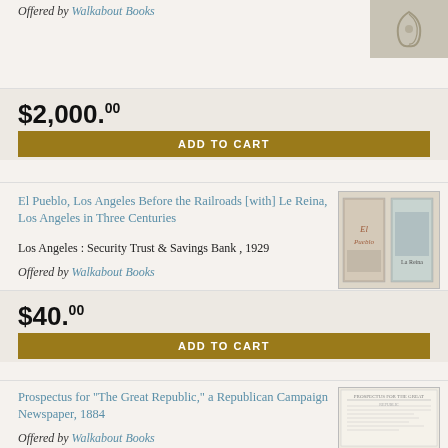Offered by Walkabout Books
[Figure (illustration): Decorative ornamental book cover thumbnail]
$2,000.00
ADD TO CART
El Pueblo, Los Angeles Before the Railroads [with] Le Reina, Los Angeles in Three Centuries
Los Angeles : Security Trust & Savings Bank , 1929
Offered by Walkabout Books
[Figure (photo): Two book covers side by side]
$40.00
ADD TO CART
Prospectus for "The Great Republic," a Republican Campaign Newspaper, 1884
Offered by Walkabout Books
[Figure (photo): Document/prospectus thumbnail image]